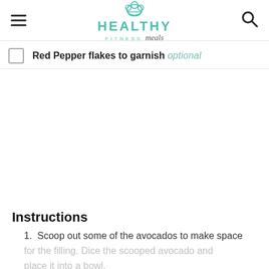HEALTHY FITNESS meals
Red Pepper flakes to garnish optional
Instructions
1. Scoop out some of the avocados to make space for the filling. Dice the scooped avocado and place it into a bowl.